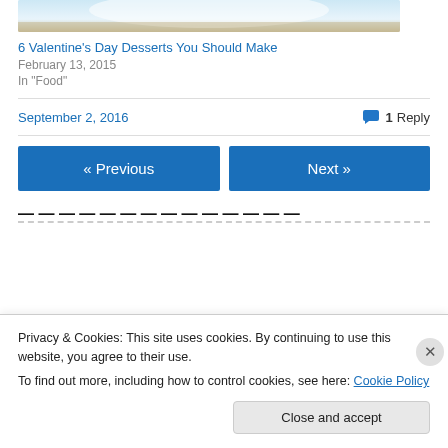[Figure (photo): Partial top of a food photo, showing a light-colored plate or bowl on a granite/stone surface]
6 Valentine's Day Desserts You Should Make
February 13, 2015
In "Food"
September 2, 2016
1 Reply
« Previous
Next »
Privacy & Cookies: This site uses cookies. By continuing to use this website, you agree to their use.
To find out more, including how to control cookies, see here: Cookie Policy
Close and accept